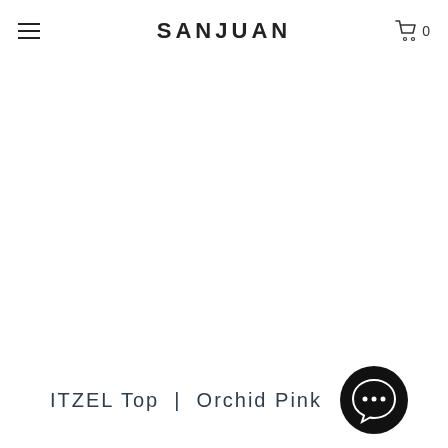SANJUAN
[Figure (screenshot): Empty white product image area for ITZEL Top in Orchid Pink]
ITZEL Top | Orchid Pink